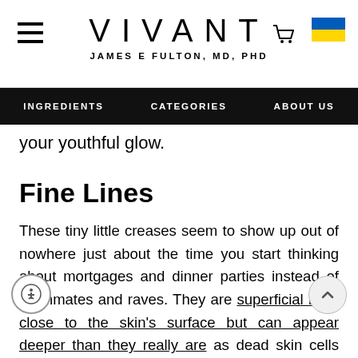VIVANT — JAMES E FULTON, MD, PHD
INGREDIENTS   CATEGORIES   ABOUT US
your youthful glow.
Fine Lines
These tiny little creases seem to show up out of nowhere just about the time you start thinking about mortgages and dinner parties instead of roommates and raves. They are superficial lines close to the skin's surface but can appear deeper than they really are as dead skin cells build and emphasize them. Cell renewal is the key to